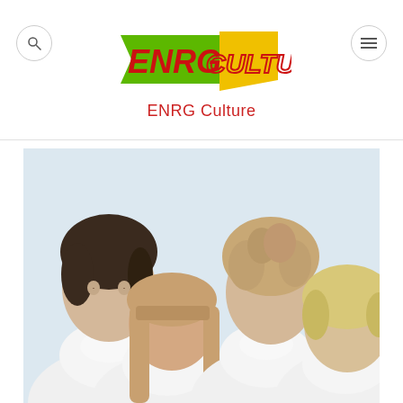[Figure (logo): ENRG Culture logo with green and yellow banner shapes and red bold italic text 'ENRG CULTURE']
ENRG Culture
[Figure (photo): Four young people wearing white turtleneck sweaters against a white background, with eyes closed or half-closed, posed together as a band photo]